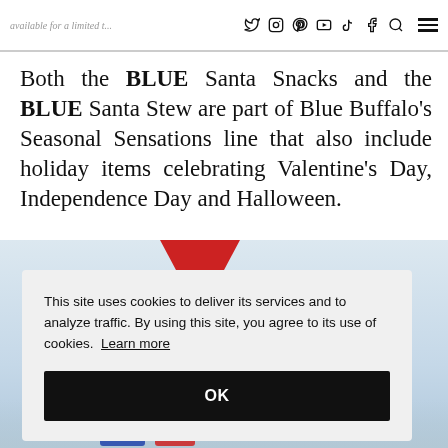Social media icons (Twitter, Instagram, Pinterest, YouTube, TikTok, Facebook, Search) and hamburger menu. Partial text: '...available for a limited t...'
Both the BLUE Santa Snacks and the BLUE Santa Stew are part of Blue Buffalo’s Seasonal Sensations line that also include holiday items celebrating Valentine’s Day, Independence Day and Halloween.
[Figure (screenshot): Snowy background image with partial view of Blue Buffalo product packaging at the bottom. A red triangular accent is visible at the top center.]
This site uses cookies to deliver its services and to analyze traffic. By using this site, you agree to its use of cookies. Learn more
OK